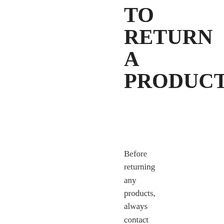TO RETURN A PRODUCT?
Before returning any products, always contact the seller you bought the item from. They will